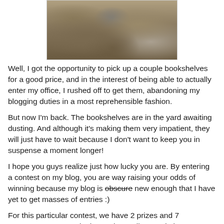[Figure (photo): A photograph of a large pile of rubbish/landfill waste — mixed debris including papers, plastics, and garbage.]
Well, I got the opportunity to pick up a couple bookshelves for a good price, and in the interest of being able to actually enter my office, I rushed off to get them, abandoning my blogging duties in a most reprehensible fashion.
But now I'm back.  The bookshelves are in the yard awaiting dusting.  And although it's making them very impatient, they will just have to wait because I don't want to keep you in suspense a moment longer!
I hope you guys realize just how lucky you are.  By entering a contest on my blog, you are way raising your odds of winning because my blog is obscure new enough that I have yet to get masses of entries :)
For this particular contest, we have 2 prizes and 7 contestants, so you do the math.  Really.  You do it.  I am terrible at math.  But I'm pretty sure it works out to You-Have-A-Great-Chance-of-Winning.